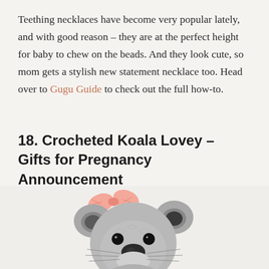Teething necklaces have become very popular lately, and with good reason – they are at the perfect height for baby to chew on the beads. And they look cute, so mom gets a stylish new statement necklace too. Head over to Gugu Guide to check out the full how-to.
18. Crocheted Koala Lovey – Gifts for Pregnancy Announcement
[Figure (photo): A crocheted koala stuffed animal lovey with a pink bow on its head, gray yarn body, black eyes and nose, and fluffy whiskers. The koala is photographed against a light background.]